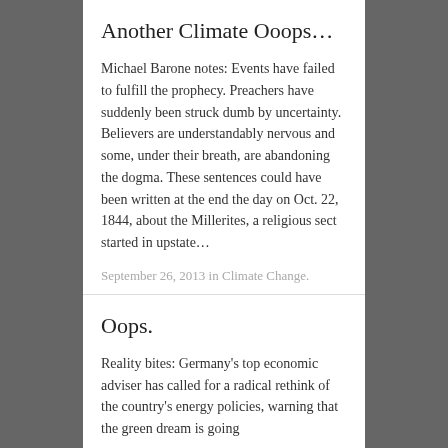Another Climate Ooops…
Michael Barone notes: Events have failed to fulfill the prophecy. Preachers have suddenly been struck dumb by uncertainty. Believers are understandably nervous and some, under their breath, are abandoning the dogma. These sentences could have been written at the end the day on Oct. 22, 1844, about the Millerites, a religious sect started in upstate…
September 26, 2013 in Climate Change.
Oops.
Reality bites: Germany's top economic adviser has called for a radical rethink of the country's energy policies, warning that the green dream is going